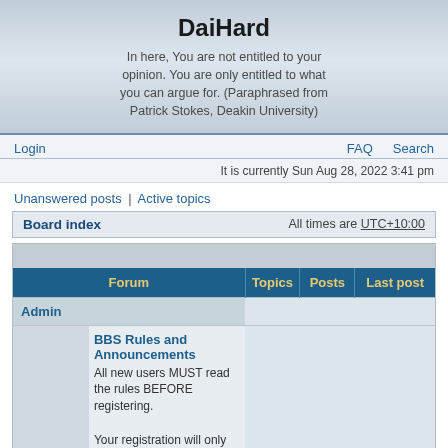DaiHard
In here, You are not entitled to your opinion. You are only entitled to what you can argue for. (Paraphrased from Patrick Stokes, Deakin University)
Login
FAQ   Search
It is currently Sun Aug 28, 2022 3:41 pm
Unanswered posts | Active topics
Board index   All times are UTC+10:00
| Forum | Topics | Posts | Last post |
| --- | --- | --- | --- |
| Admin |  |  |  |
| BBS Rules and Announcements
All new users MUST read the rules BEFORE registering.

Your registration will only be processed if you have included a location and verifiable email |  |  |  |